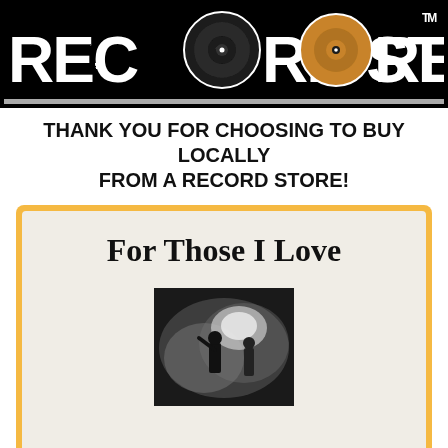[Figure (logo): Record Store Day logo banner — white distressed lettering 'RECORD STORE DAY' on black background with two vinyl records replacing the 'O' letters, and a TM symbol]
THANK YOU FOR CHOOSING TO BUY LOCALLY FROM A RECORD STORE!
[Figure (illustration): Album artwork for 'For Those I Love' — white/cream cover with large serif title text at top, and a black-and-white concert photograph of a performer on stage surrounded by smoke/fog below]
For Those I Love